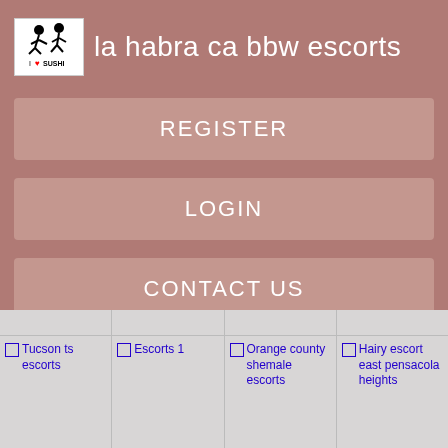[Figure (logo): I love sushi logo with stick figures]
la habra ca bbw escorts
REGISTER
LOGIN
CONTACT US
[Figure (photo): Tucson ts escorts thumbnail]
[Figure (photo): Escorts 1 thumbnail]
[Figure (photo): Orange county shemale escorts thumbnail]
[Figure (photo): Hairy escort east pensacola heights thumbnail]